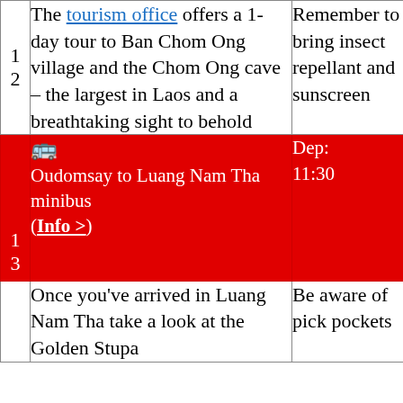| 1
2 | The tourism office offers a 1-day tour to Ban Chom Ong village and the Chom Ong cave – the largest in Laos and a breathtaking sight to behold | Remember to bring insect repellant and sunscreen |
| 1
3 | 🚌 Oudomsay to Luang Nam Tha minibus (Info >)
Dep: 11:30
Arr: 14:30 | 🏨 Zuela Guesthouse (Book >) | All hotels > |
|  | Once you've arrived in Luang Nam Tha take a look at the Golden Stupa | Be aware of pick pockets |